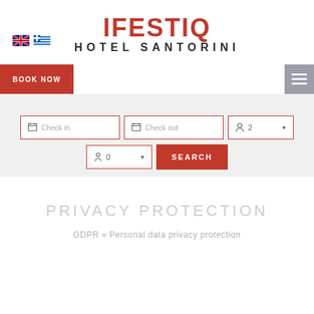[Figure (logo): IFESTIQ Hotel Santorini logo with red IFESTIQ text and dark HOTEL SANTORINI subtitle]
[Figure (screenshot): UK flag and Greek flag language selectors]
BOOK NOW
[Figure (screenshot): Hamburger menu icon in grey square]
[Figure (screenshot): Hotel search form with Check in, Check out, guests (2), children (0) fields and SEARCH button]
PRIVACY PROTECTION
GDPR » Personal data privacy protection